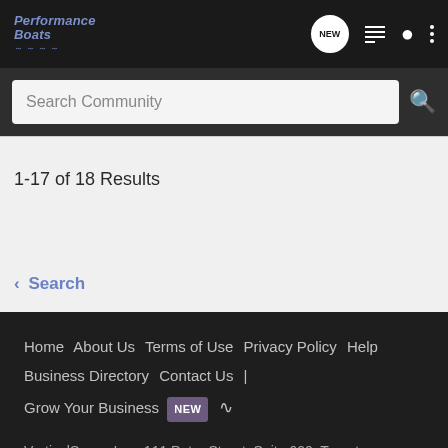[Figure (logo): Performance Boats logo with wave graphic in top navigation bar]
Search Community
1-17 of 18 Results
< Search
Home  About Us  Terms of Use  Privacy Policy  Help  Business Directory  Contact Us  |  Grow Your Business  NEW
VerticalScope Inc., 111 Peter Street, Suite 600, Toronto, Ontario, M5V 2H1, Canada
The Fora platform includes forum software by XenForo